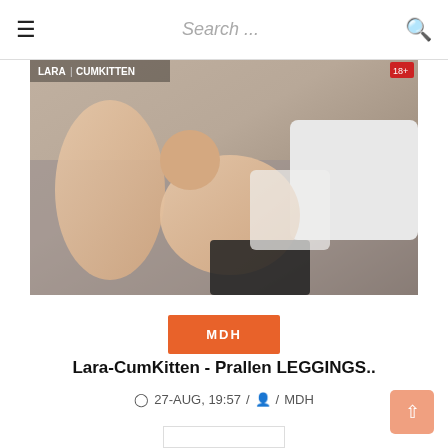≡  Search ...  🔍
[Figure (photo): Video thumbnail showing adult content with LARA|CUMKITTEN watermark in top left corner and a red badge in the top right corner.]
MDH
Lara-CumKitten - Prallen LEGGINGS..
27-AUG, 19:57 /  / MDH